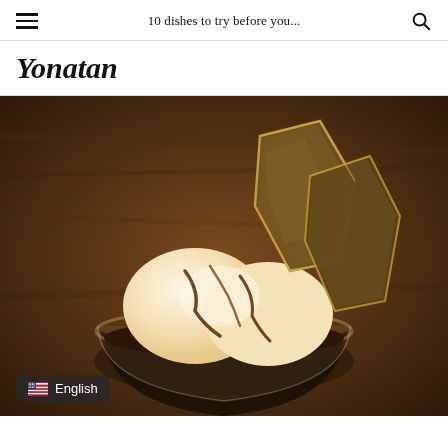10 dishes to try before you...
Yonatan
[Figure (photo): A glass bowl containing a chocolate dessert topped with scoops of vanilla ice cream drizzled with chocolate sauce and two large broken pieces of thin caramel or chocolate tuile/bark standing upright, on a wooden surface.]
English